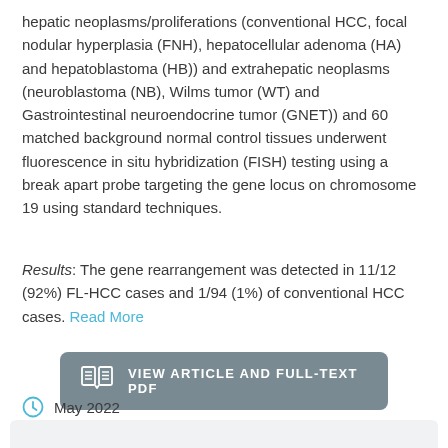hepatic neoplasms/proliferations (conventional HCC, focal nodular hyperplasia (FNH), hepatocellular adenoma (HA) and hepatoblastoma (HB)) and extrahepatic neoplasms (neuroblastoma (NB), Wilms tumor (WT) and Gastrointestinal neuroendocrine tumor (GNET)) and 60 matched background normal control tissues underwent fluorescence in situ hybridization (FISH) testing using a break apart probe targeting the gene locus on chromosome 19 using standard techniques.
Results: The gene rearrangement was detected in 11/12 (92%) FL-HCC cases and 1/94 (1%) of conventional HCC cases. Read More
[Figure (other): Button: VIEW ARTICLE AND FULL-TEXT PDF with book/document icon on grey rounded rectangle background]
May 2022
Similar Publications